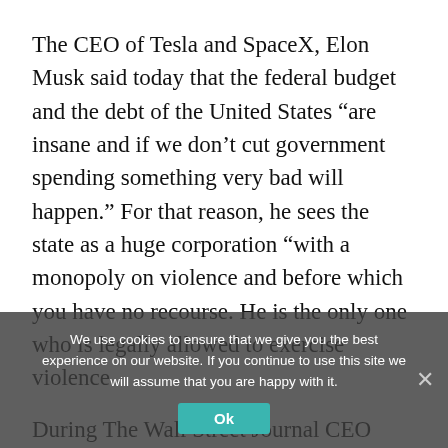The CEO of Tesla and SpaceX, Elon Musk said today that the federal budget and the debt of the United States “are insane and if we don’t cut government spending something very bad will happen.” For that reason, he sees the state as a huge corporation “with a monopoly on violence and before which you have no recourse. He is the only one who is legally allowed to exercise violence.
During The Wall Street Journal CEO Council Summit, it was possible to hear the billionaire Elon Musk speak of the bill ‘Build Back Better’ Promoted by the Joe Biden government, a law that includes more than $ 2 billion in
We use cookies to ensure that we give you the best experience on our website. If you continue to use this site we will assume that you are happy with it.